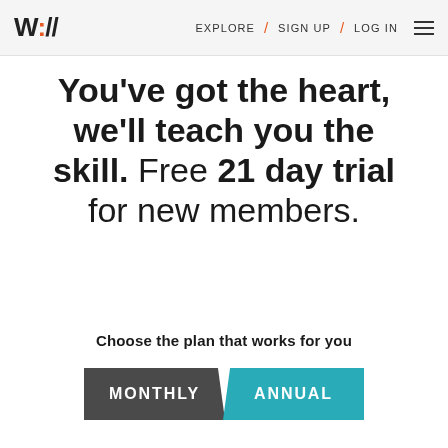W:// EXPLORE / SIGN UP / LOG IN
You've got the heart, we'll teach you the skill. Free 21 day trial for new members.
Choose the plan that works for you
MONTHLY / ANNUAL